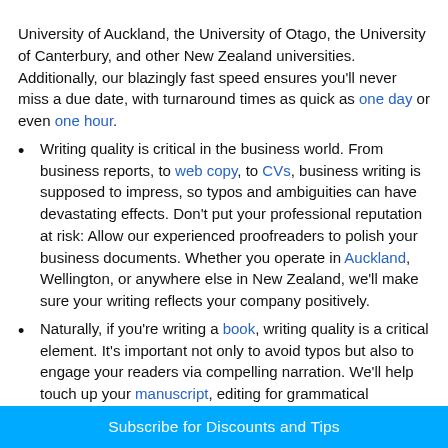University of Auckland, the University of Otago, the University of Canterbury, and other New Zealand universities. Additionally, our blazingly fast speed ensures you'll never miss a due date, with turnaround times as quick as one day or even one hour.
Writing quality is critical in the business world. From business reports, to web copy, to CVs, business writing is supposed to impress, so typos and ambiguities can have devastating effects. Don't put your professional reputation at risk: Allow our experienced proofreaders to polish your business documents. Whether you operate in Auckland, Wellington, or anywhere else in New Zealand, we'll make sure your writing reflects your company positively.
Naturally, if you're writing a book, writing quality is a critical element. It's important not only to avoid typos but also to engage your readers via compelling narration. We'll help touch up your manuscript, editing for grammatical correctness and tailoring the style to your chosen audience. Need help with the next steps? We'll help you with publishing, too.
New Zealand is a majority Anglophone country, but that doesn't
Subscribe for Discounts and Tips